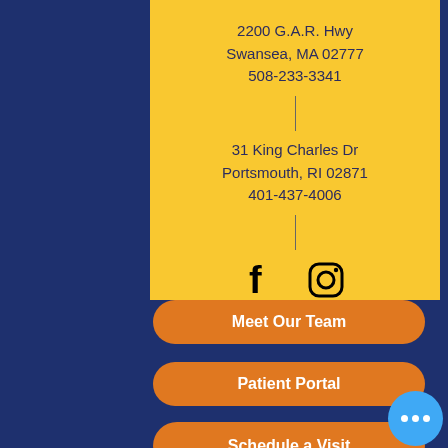2200 G.A.R. Hwy
Swansea, MA 02777
508-233-3341
31 King Charles Dr
Portsmouth, RI 02871
401-437-4006
[Figure (logo): Facebook and Instagram social media icons in black]
Meet Our Team
Patient Portal
Schedule a Visit